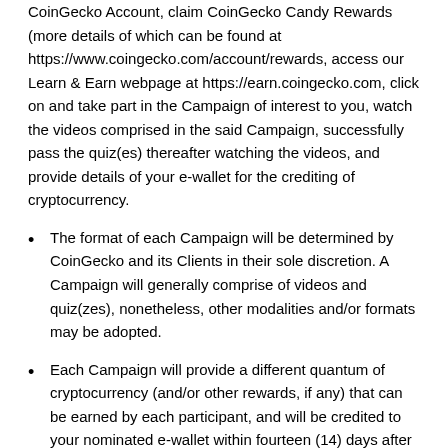CoinGecko Account, claim CoinGecko Candy Rewards (more details of which can be found at https://www.coingecko.com/account/rewards, access our Learn & Earn webpage at https://earn.coingecko.com, click on and take part in the Campaign of interest to you, watch the videos comprised in the said Campaign, successfully pass the quiz(es) thereafter watching the videos, and provide details of your e-wallet for the crediting of cryptocurrency.
The format of each Campaign will be determined by CoinGecko and its Clients in their sole discretion. A Campaign will generally comprise of videos and quiz(zes), nonetheless, other modalities and/or formats may be adopted.
Each Campaign will provide a different quantum of cryptocurrency (and/or other rewards, if any) that can be earned by each participant, and will be credited to your nominated e-wallet within fourteen (14) days after your successful completion of the Campaign (successful